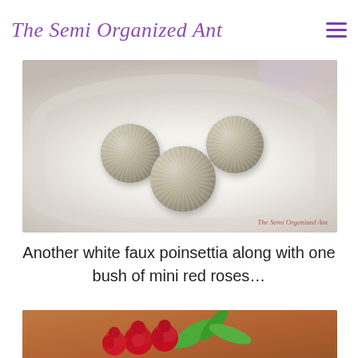The Semi Organized Ant
[Figure (photo): Three silver glitter balls sitting on a white ceramic plate, close-up photography. Watermark reads 'The Semi Organized Ant'.]
Another white faux poinsettia along with one bush of mini red roses…
[Figure (photo): Partial view of mini red roses flowers with green foliage against a warm brown background.]